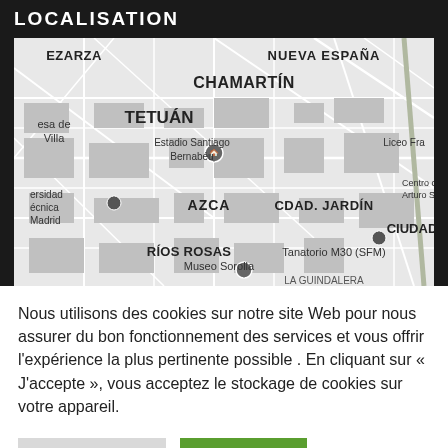LOCALISATION
[Figure (map): Street map of Madrid, Spain showing neighborhoods including CHAMARTÍN, TETUÁN, EZARZA, NUEVA ESPAÑA, AZCA, CDAD. JARDÍN, RÍOS ROSAS, CIUDAD, with landmarks Estadio Santiago Bernabéu, Liceo Fra, Centro comerc Arturo Soria Pla, Universidad Técnica Madrid, Tanatorio M30 (SFM), Museo Sorolla]
Nous utilisons des cookies sur notre site Web pour nous assurer du bon fonctionnement des services et vous offrir l'expérience la plus pertinente possible . En cliquant sur « J'accepte », vous acceptez le stockage de cookies sur votre appareil.
Personnaliser
J'accepte